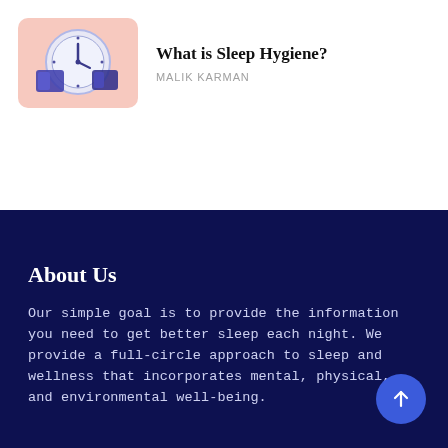[Figure (illustration): Salmon/pink rounded thumbnail card showing a clock and a book illustration representing sleep hygiene]
What is Sleep Hygiene?
MALIK KARMAN
About Us
Our simple goal is to provide the information you need to get better sleep each night. We provide a full-circle approach to sleep and wellness that incorporates mental, physical, and environmental well-being.